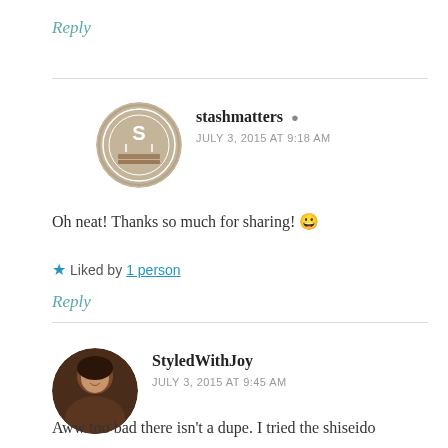Reply
stashmatters
JULY 3, 2015 AT 9:18 AM
Oh neat! Thanks so much for sharing! 😀
★ Liked by 1 person
Reply
StyledWithJoy
JULY 3, 2015 AT 9:45 AM
Aww too bad there isn't a dupe. I tried the shiseido